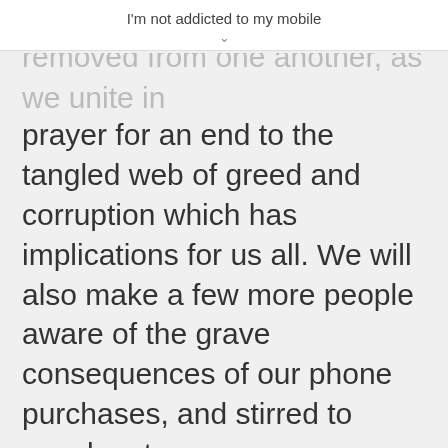I'm not addicted to my mobile
removed from one another, as we unite in prayer for an end to the tangled web of greed and corruption which has implications for us all. We will also make a few more people aware of the grave consequences of our phone purchases, and stirred to speak out.
As Kate Coleman puts it: “Fasts are ‘designed to sensitise our hearts towards God’s purposes – the things on God’s heart which are so often invisible to us.” So let’s show victims of violence in Congo that we see them. Let’s declare to our phone